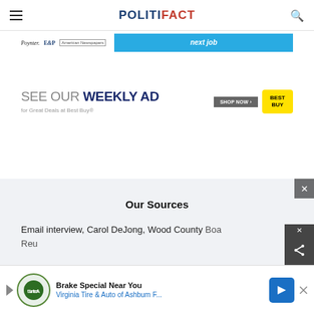POLITIFACT
[Figure (screenshot): Partial advertisement banner with Poynter, E&P, and American Newspapers logos and a blue 'next job' button]
[Figure (screenshot): Best Buy weekly ad advertisement: 'SEE OUR WEEKLY AD for Great Deals at Best Buy® SHOP NOW' with Best Buy logo]
Our Sources
Email interview, Carol DeJong, Wood County Boa...
Reu...
[Figure (screenshot): Bottom overlay ad: Brake Special Near You - Virginia Tire & Auto of Ashbum F... with navigation arrow logo]